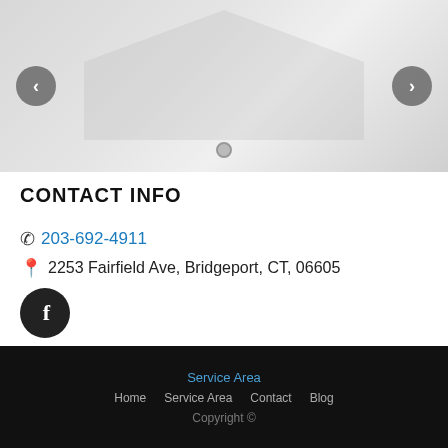[Figure (photo): Image slider showing a house exterior with left and right navigation arrow buttons and a dot indicator at the bottom]
CONTACT INFO
203-692-4911
2253 Fairfield Ave, Bridgeport, CT, 06605
[Figure (logo): Facebook icon button — dark circle with white letter f]
Service Area | Home  Service Area  Contact  Blog | Copyright ©